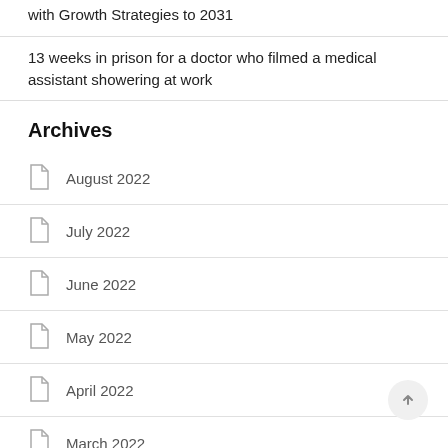with Growth Strategies to 2031
13 weeks in prison for a doctor who filmed a medical assistant showering at work
Archives
August 2022
July 2022
June 2022
May 2022
April 2022
March 2022
February 2022
January 2022
December 2021